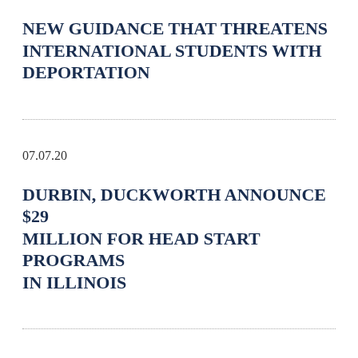NEW GUIDANCE THAT THREATENS INTERNATIONAL STUDENTS WITH DEPORTATION
07.07.20
DURBIN, DUCKWORTH ANNOUNCE $29 MILLION FOR HEAD START PROGRAMS IN ILLINOIS
07.02.20
DURBIN TO ILLINOIS AG RAOUL: WE MUST PROTECT STUDENTS FROM PREDATORY FOR-PROFIT SCHOOL